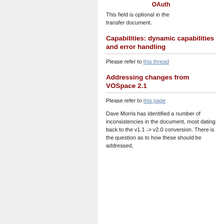OAuth
This field is optional in the transfer document.
Capabilities: dynamic capabilities and error handling
Please refer to this thread
Addressing changes from VOSpace 2.1
Please refer to this page
Dave Morris has identified a number of inconsistencies in the document, most dating back to the v1.1 -> v2.0 conversion. There is the question as to how these should be addressed,